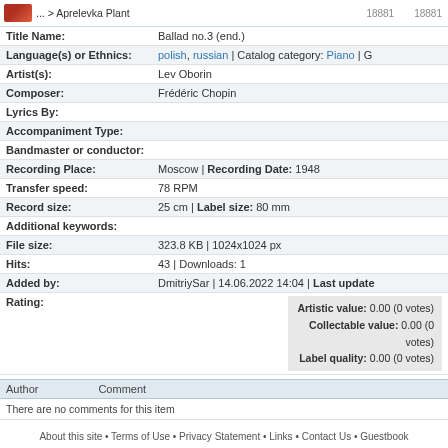| Field | Value |
| --- | --- |
| Title Name: | Ballad no.3 (end.) |
| Language(s) or Ethnics: | polish, russian | Catalog category: Piano | G |
| Artist(s): | Lev Oborin |
| Composer: | Frédéric Chopin |
| Lyrics By: |  |
| Accompaniment Type: |  |
| Bandmaster or conductor: |  |
| Recording Place: | Moscow | Recording Date: 1948 |
| Transfer speed: | 78 RPM |
| Record size: | 25 cm | Label size: 80 mm |
| Additional keywords: |  |
| File size: | 323.8 KB | 1024x1024 px |
| Hits: | 43 | Downloads: 1 |
| Added by: | DmitriySar | 14.06.2022 14:04 | Last updated |
| Rating: | Artistic value: 0.00 (0 votes)
Collectable value: 0.00 (0 votes)
Label quality: 0.00 (0 votes) |
| Author | Comment |
| --- | --- |
| There are no comments for this item |  |
About this site • Terms of Use • Privacy Statement • Links • Contact Us • Guestbook